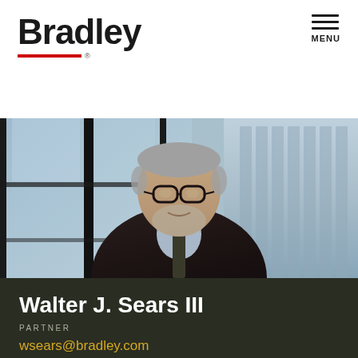Bradley MENU
[Figure (photo): Professional headshot of Walter J. Sears III, an older gentleman with glasses and a grey beard, wearing a dark suit and tie, photographed in front of glass windows with city buildings in the background.]
Walter J. Sears III
PARTNER
wsears@bradley.com